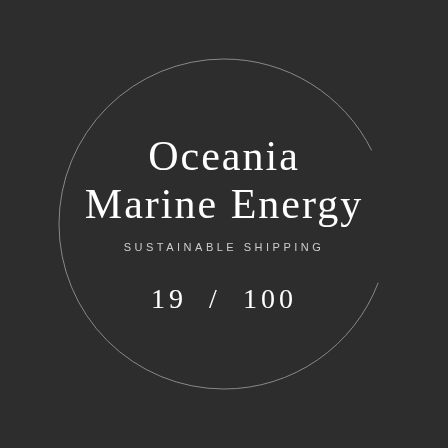[Figure (logo): Circular logo for Oceania Marine Energy with the text 'Oceania Marine Energy', subtitle 'SUSTAINABLE SHIPPING', and edition number '19 / 100' on a dark background with a thin circular border]